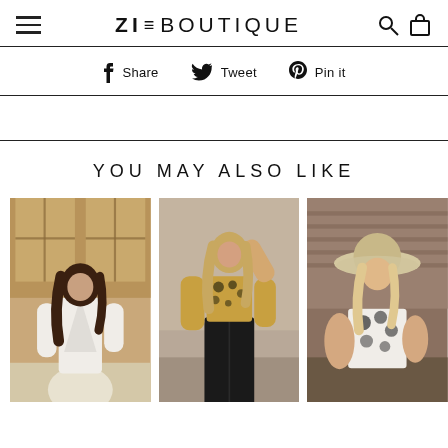ZIE BOUTIQUE
Share   Tweet   Pin it
YOU MAY ALSO LIKE
[Figure (photo): Fashion model wearing a white wrap top and light satin skirt, standing outdoors near a building with large windows]
[Figure (photo): Fashion model wearing a gold floral print long-sleeve crop top and black leather pants, posing outdoors]
[Figure (photo): Fashion model wearing a strapless floral print top and a wide-brim hat, sitting indoors]